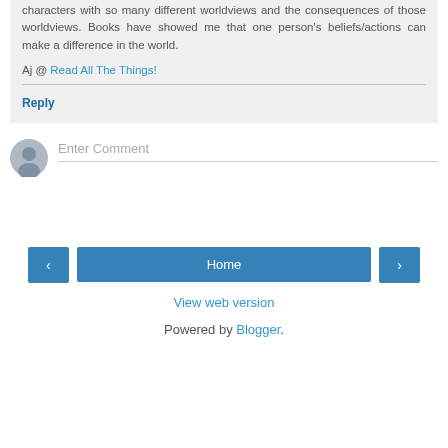characters with so many different worldviews and the consequences of those worldviews. Books have showed me that one person's beliefs/actions can make a difference in the world.
Aj @ Read All The Things!
Reply
Enter Comment
Home
View web version
Powered by Blogger.